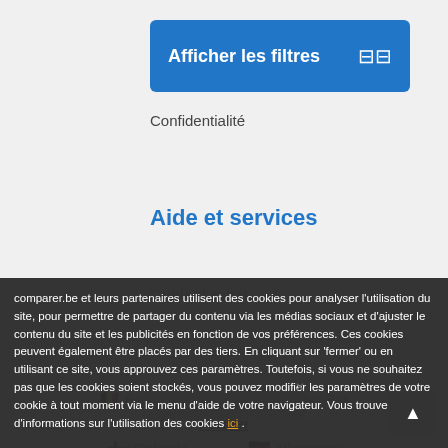[Figure (screenshot): Blue 'Afficher les filtres' button with filter icon on right]
Confidentialité
Aide et services
Guide d'achat
comparer.be et leurs partenaires utilisent des cookies pour analyser l'utilisation du site, pour permettre de partager du contenu via les médias sociaux et d'ajuster le contenu du site et les publicités en fonction de vos préférences. Ces cookies peuvent également être placés par des tiers. En cliquant sur 'fermer' ou en utilisant ce site, vous approuvez ces paramètres. Toutefois, si vous ne souhaitez pas que les cookies soient stockés, vous pouvez modifier les paramètres de votre cookie à tout moment via le menu d'aide de votre navigateur. Vous trouverez plus d'informations sur l'utilisation des cookies ici .
Belgique (nl)
Pays-Bas
Fermer
Finlande
Allemagne
Chargement...